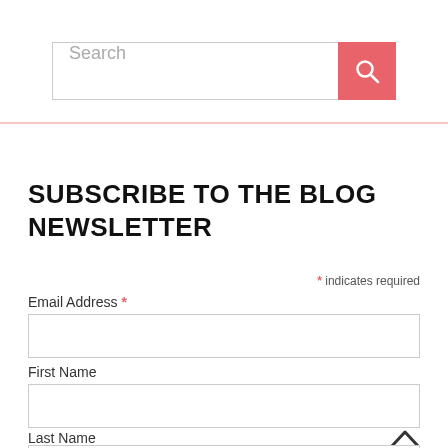[Figure (screenshot): Search bar with text input field showing placeholder 'Search' and a red/pink search button with magnifying glass icon on the right]
SUBSCRIBE TO THE BLOG NEWSLETTER
* indicates required
Email Address *
First Name
Last Name